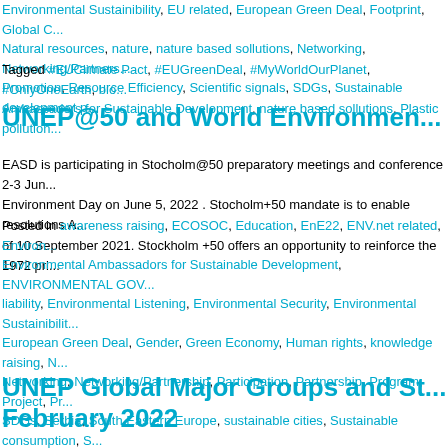Environmental Sustainibility, EU related, European Green Deal, Footprint, Global C... Natural resources, nature, nature based sollutions, Networking, Networking/Partners... Promotion, Resource Efficiency, Scientific signals, SDGs, Sustainable development p...
Tagged #EUClimate Pact, #EUGreenDeal, #MyWorldOurPlanet, #OnlyOneEarth, bio... Ambassadors for Sustainable Development, nature based sollutions, Plastic pollution...
UNEP@50 and World Environmen...
EASD is participating in Stocholm@50 preparatory meetings and conference 2-3 Jun... Environment Day on June 5, 2022 . Stocholm+50 mandate is to enable resolutions A... of 10 September 2021. Stockholm +50 offers an opportunity to reinforce the 1972 pri...
Posted in awareness raising, ECOSOC, Education, EnE22, ENV.net related, Environ... Environmental Ambassadors for Sustainable Development, ENVIRONMENTAL GOV... liability, Environmental Listening, Environmental Security, Environmental Sustainibilit... European Green Deal, Gender, Green Economy, Human rights, knowledge raising, N... Networking, Networking/Partnership, Participation, Partnership, Program, Project, Pr... SDGs, Serbia, South Eastern Europe, sustainable cities, Sustainable consumption, S... growth, Sustainable Tourism, UN, UNDP, UNECE, UNEP, Waste, WECF, WED, WHO... #EUGreenDeal, #MyWorldOurPlanet, #OnlyOneEarth, biodiversity, EASD, ECOSOC... related, Environmental Ambassadors, Environmental Ambassadors for Sustainable D... sollutions, sanitation, SDGs, SDSN, UN, UN Environment, UNEP, water safety, WEC...
UNEP Global Major Groups and S... February 2022